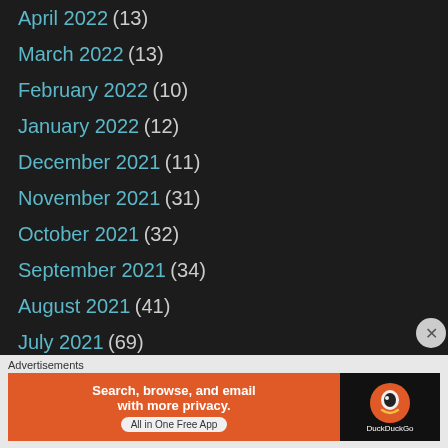April 2022 (13)
March 2022 (13)
February 2022 (10)
January 2022 (12)
December 2021 (11)
November 2021 (31)
October 2021 (32)
September 2021 (34)
August 2021 (41)
July 2021 (69)
June 2021 (93)
May 2021 (68)
April 2021 (83)
March 2021 (67)
February 2021 (57)
[Figure (screenshot): DuckDuckGo advertisement banner with orange background and text 'Search, browse, and email with more privacy. All in One Free App']